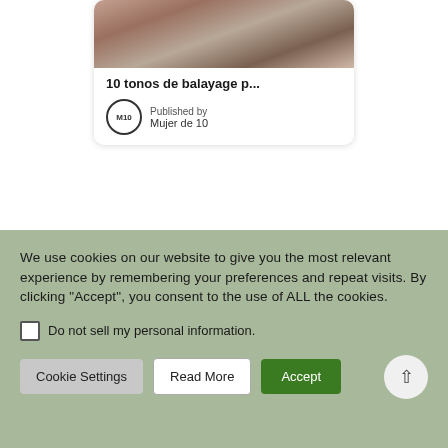[Figure (photo): Photo of a person with highlights/balayage hair, partially cropped at top]
10 tonos de balayage p...
Published by
Mujer de 10
[Figure (photo): Partial photo showing green foliage and red element, another article card]
We use cookies on our website to give you the most relevant experience by remembering your preferences and repeat visits. By clicking “Accept”, you consent to the use of ALL the cookies.
Do not sell my personal information.